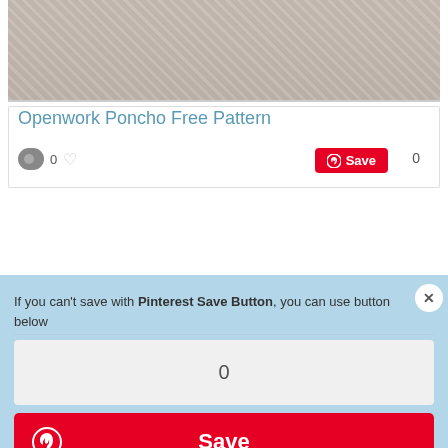[Figure (photo): Partial view of a person wearing a fringe or textured poncho garment, cropped at top]
Openwork Poncho Free Pattern
If you can't save with Pinterest Save Button, you can use button below
0
Save